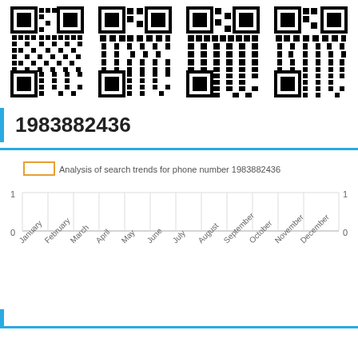[Figure (other): Four QR codes arranged in a row at the top of the page]
1983882436
[Figure (line-chart): Analysis of search trends for phone number 1983882436]